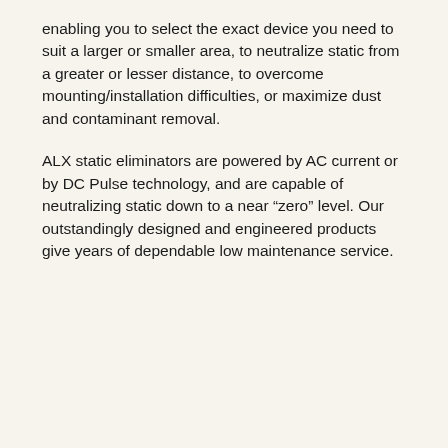enabling you to select the exact device you need to suit a larger or smaller area, to neutralize static from a greater or lesser distance, to overcome mounting/installation difficulties, or maximize dust and contaminant removal.
ALX static eliminators are powered by AC current or by DC Pulse technology, and are capable of neutralizing static down to a near “zero” level. Our outstandingly designed and engineered products give years of dependable low maintenance service.